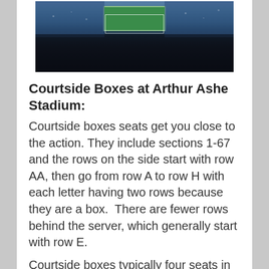[Figure (photo): Aerial/overhead view of Arthur Ashe Stadium filled with spectators, with the blue/green tennis court visible in the center]
Courtside Boxes at Arthur Ashe Stadium:
Courtside boxes seats get you close to the action. They include sections 1-67 and the rows on the side start with row AA, then go from row A to row H with each letter having two rows because they are a box.  There are fewer rows behind the server, which generally start with row E.
Courtside boxes typically four seats in front and four seats directly